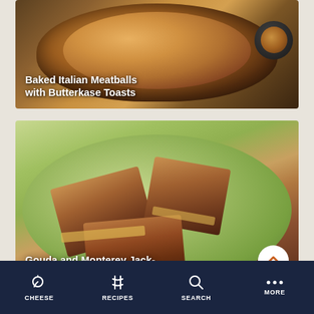[Figure (photo): Food recipe card showing Baked Italian Meatballs with Butterkase Toasts - a cast iron skillet with roasted potatoes and meatballs, with a dark plate and fork on the side]
Baked Italian Meatballs with Butterkase Toasts
[Figure (photo): Food recipe card showing Gouda and Monterey Jack-Bacon Melt - grilled cheese sandwich slices on a green plate]
Gouda and Monterey Jack-Bacon Melt
CHEESE   RECIPES   SEARCH   MORE